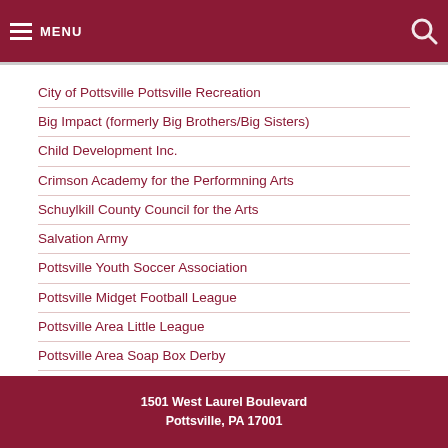MENU
City of Pottsville Pottsville Recreation
Big Impact (formerly Big Brothers/Big Sisters)
Child Development Inc.
Crimson Academy for the Performning Arts
Schuylkill County Council for the Arts
Salvation Army
Pottsville Youth Soccer Association
Pottsville Midget Football League
Pottsville Area Little League
Pottsville Area Soap Box Derby
Pottsville Cruise
1501 West Laurel Boulevard
Pottsville, PA 17001